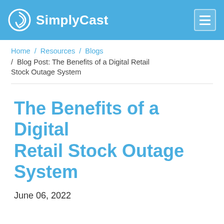SimplyCast
Home / Resources / Blogs / Blog Post: The Benefits of a Digital Retail Stock Outage System
The Benefits of a Digital Retail Stock Outage System
June 06, 2022